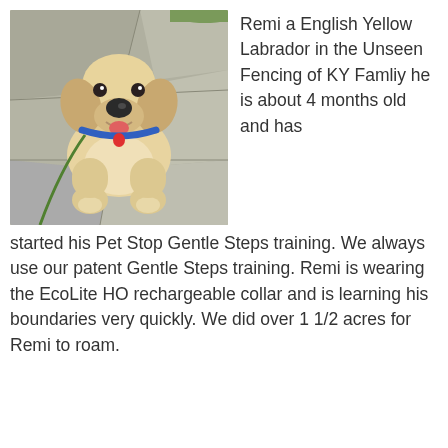[Figure (photo): A yellow Labrador puppy sitting on a stone patio, wearing a blue collar with a red tag and a green leash. The puppy is looking up at the camera.]
Remi a English Yellow Labrador in the Unseen Fencing of KY Famliy he is about 4 months old and has started his Pet Stop Gentle Steps training. We always use our patent Gentle Steps training. Remi is wearing the EcoLite HO rechargeable collar and is learning his boundaries very quickly. We did over 1 1/2 acres for Remi to roam.